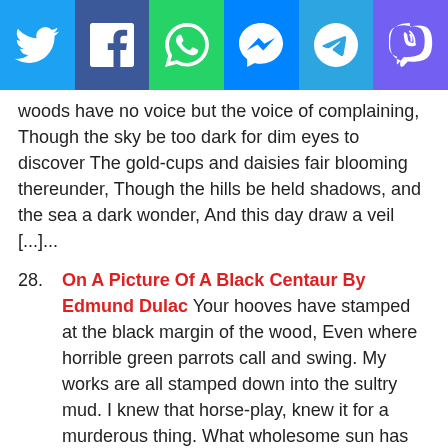[Figure (infographic): Social media sharing bar with six buttons: Twitter (blue), Facebook (dark blue), WhatsApp (green), Messenger (blue), Telegram (light blue), Viber (purple), each with white icon]
woods have no voice but the voice of complaining, Though the sky be too dark for dim eyes to discover The gold-cups and daisies fair blooming thereunder, Though the hills be held shadows, and the sea a dark wonder, And this day draw a veil [...]...
28. On A Picture Of A Black Centaur By Edmund Dulac Your hooves have stamped at the black margin of the wood, Even where horrible green parrots call and swing. My works are all stamped down into the sultry mud. I knew that horse-play, knew it for a murderous thing. What wholesome sun has ripened is wholesome food to eat, And that alone; yet I, being [...]...
29. The Wandering Bard What life like that of the bard can be The wandering bard, who roams as